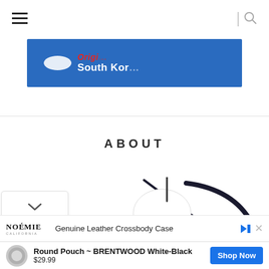[Figure (screenshot): Website navigation bar with hamburger menu icon on left and search icon on right]
[Figure (photo): Blue banner image with text 'Original South Korea' in red and white italic lettering, with a white oval shape]
ABOUT
[Figure (photo): Partially visible product/illustration image at bottom of page]
[Figure (screenshot): Advertisement banner showing NOÉMIE California logo and 'Genuine Leather Crossbody Case' text with arrow and close icons]
[Figure (screenshot): Product advertisement showing round pouch thumbnail, 'Round Pouch ~ BRENTWOOD White-Black' name, '$29.99' price, and 'Shop Now' blue button]